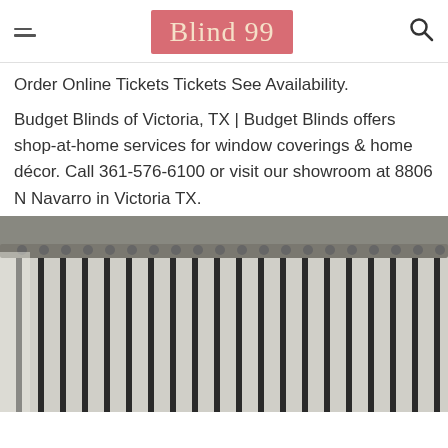Blind 99
Order Online Tickets Tickets See Availability.
Budget Blinds of Victoria, TX | Budget Blinds offers shop-at-home services for window coverings & home décor. Call 361-576-6100 or visit our showroom at 8806 N Navarro in Victoria TX.
[Figure (photo): Close-up photograph of window blinds with alternating dark and light vertical stripes, mounted at the top of a window.]